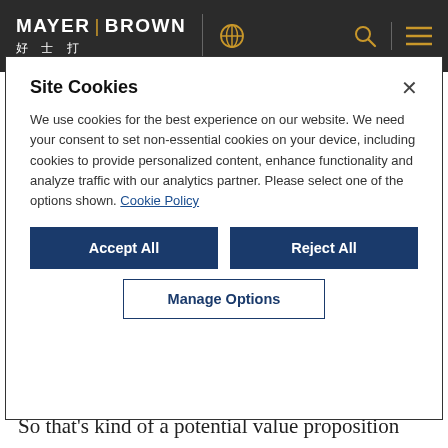MAYER BROWN 好士打
NFT that gives you a perk of being in front of the waitlist for every new Air Jordan, then that could be a very valuable NFT to some people. And if
Site Cookies
We use cookies for the best experience on our website. We need your consent to set non-essential cookies on your device, including cookies to provide personalized content, enhance functionality and analyze traffic with our analytics partner. Please select one of the options shown. Cookie Policy
Accept All
Reject All
Manage Options
So that's kind of a potential value proposition that